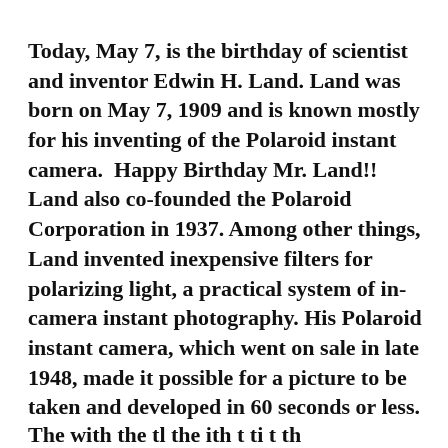Today, May 7, is the birthday of scientist and inventor Edwin H. Land. Land was born on May 7, 1909 and is known mostly for his inventing of the Polaroid instant camera.  Happy Birthday Mr. Land!! Land also co-founded the Polaroid Corporation in 1937. Among other things, Land invented inexpensive filters for polarizing light, a practical system of in-camera instant photography. His Polaroid instant camera, which went on sale in late 1948, made it possible for a picture to be taken and developed in 60 seconds or less.